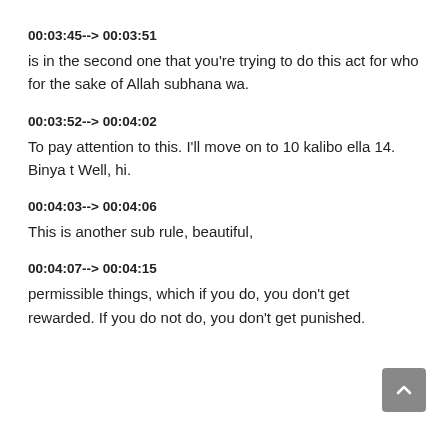00:03:45--> 00:03:51
is in the second one that you're trying to do this act for who for the sake of Allah subhana wa.
00:03:52--> 00:04:02
To pay attention to this. I'll move on to 10 kalibo ella 14. Binya t Well, hi.
00:04:03--> 00:04:06
This is another sub rule, beautiful,
00:04:07--> 00:04:15
permissible things, which if you do, you don't get rewarded. If you do not do, you don't get punished.